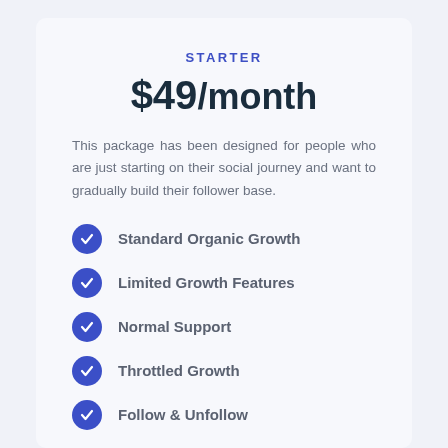STARTER
$49/month
This package has been designed for people who are just starting on their social journey and want to gradually build their follower base.
Standard Organic Growth
Limited Growth Features
Normal Support
Throttled Growth
Follow & Unfollow